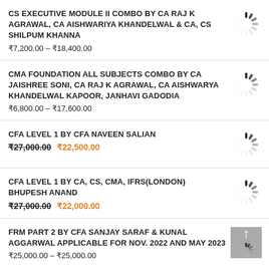CS EXECUTIVE MODULE II COMBO BY CA RAJ K AGRAWAL, CA AISHWARIYA KHANDELWAL & CA, CS SHILPUM KHANNA
₹7,200.00 – ₹18,400.00
CMA FOUNDATION ALL SUBJECTS COMBO BY CA JAISHREE SONI, CA RAJ K AGRAWAL, CA AISHWARYA KHANDELWAL KAPOOR, JANHAVI GADODIA
₹6,800.00 – ₹17,600.00
CFA LEVEL 1 BY CFA NAVEEN SALIAN
₹27,000.00  ₹22,500.00
CFA LEVEL 1 BY CA, CS, CMA, IFRS(LONDON) BHUPESH ANAND
₹27,000.00  ₹22,000.00
FRM PART 2 BY CFA SANJAY SARAF & KUNAL AGGARWAL APPLICABLE FOR NOV. 2022 AND MAY 2023
₹25,000.00 – ₹25,000.00